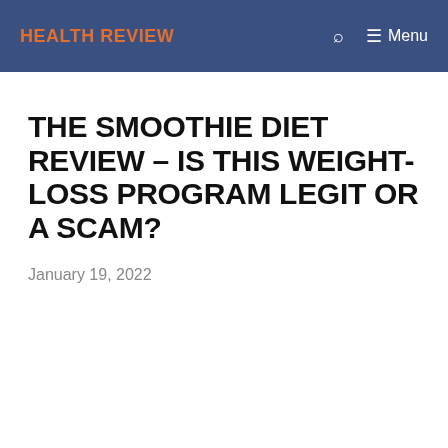HEALTH REVIEW | Menu
THE SMOOTHIE DIET REVIEW – IS THIS WEIGHT-LOSS PROGRAM LEGIT OR A SCAM?
January 19, 2022